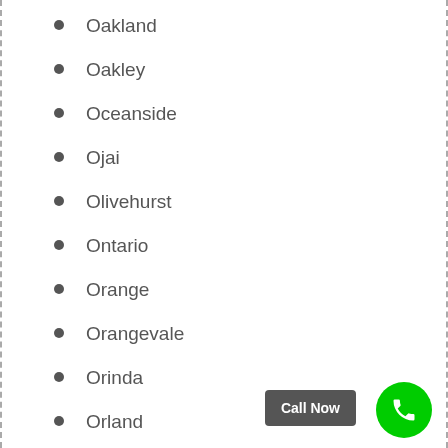Oakland
Oakley
Oceanside
Ojai
Olivehurst
Ontario
Orange
Orangevale
Orinda
Orland